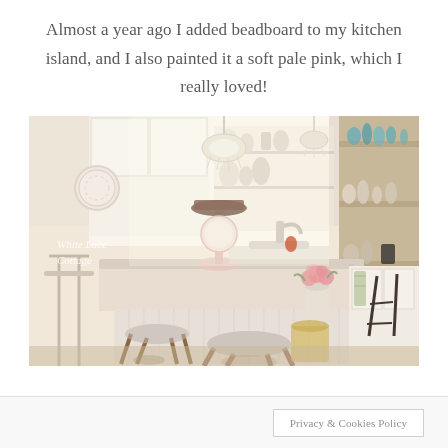Almost a year ago I added beadboard to my kitchen island, and I also painted it a soft pale pink, which I really loved!
[Figure (photo): Bright, airy cottage-style kitchen with a beadboard island painted soft pale pink, vintage scale, bar stools, pink roses in a vase, open shelving with glassware, and a chandelier. Watermark reads 'White Lace Cottage'.]
Privacy & Cookies Policy